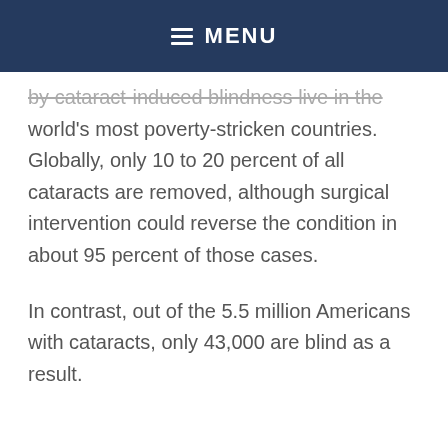MENU
by cataract-induced blindness live in the world's most poverty-stricken countries. Globally, only 10 to 20 percent of all cataracts are removed, although surgical intervention could reverse the condition in about 95 percent of those cases.
In contrast, out of the 5.5 million Americans with cataracts, only 43,000 are blind as a result.